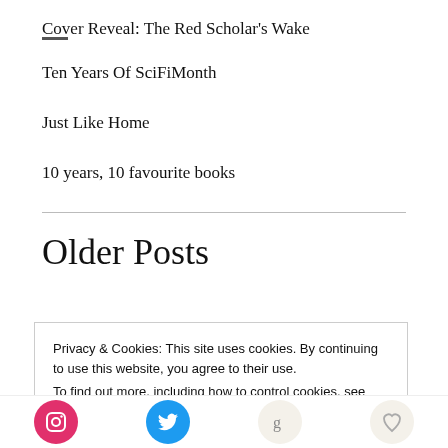Cover Reveal: The Red Scholar's Wake
Ten Years Of SciFiMonth
Just Like Home
10 years, 10 favourite books
Older Posts
Privacy & Cookies: This site uses cookies. By continuing to use this website, you agree to their use.
To find out more, including how to control cookies, see here: Cookie Policy
Close and accept
[Figure (other): Social media icon buttons: Instagram (pink/red circle), Twitter (blue circle), Goodreads (beige circle), heart/save (beige circle)]